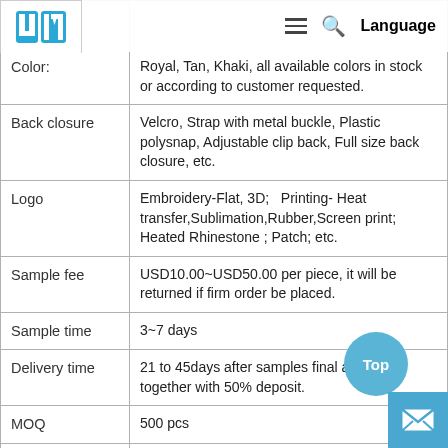| Field | Details |
| --- | --- |
| Color: | Royal, Tan, Khaki, all available colors in stock or according to customer requested. |
| Back closure | Velcro, Strap with metal buckle, Plastic polysnap, Adjustable clip back, Full size back closure, etc. |
| Logo | Embroidery-Flat, 3D;   Printing- Heat transfer,Sublimation,Rubber,Screen print; Heated Rhinestone ; Patch; etc. |
| Sample fee | USD10.00~USD50.00 per piece, it will be returned if firm order be placed. |
| Sample time | 3~7 days |
| Delivery time | 21 to 45days after samples final approval together with 50% deposit. |
| MOQ | 500 pcs |
| Packing | 12pcs/polybag, 24pcs/inner box, 6 inner boxes/carton, 144pcs/carton, or as per customer's request. |
| Carton Size | Stardard Meas. 60x38x54cm or as per customer's request |
| Supply ability | 200000pcs per month |